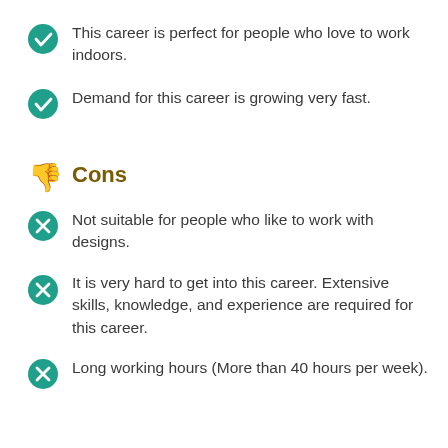This career is perfect for people who love to work indoors.
Demand for this career is growing very fast.
Cons
Not suitable for people who like to work with designs.
It is very hard to get into this career. Extensive skills, knowledge, and experience are required for this career.
Long working hours (More than 40 hours per week).